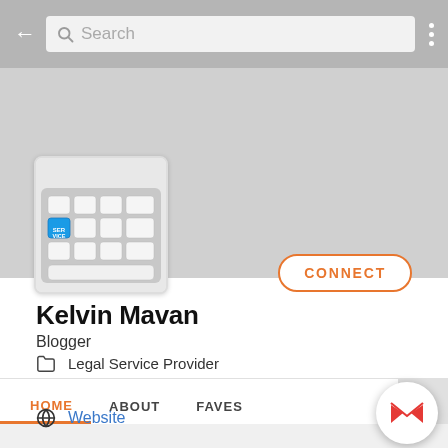[Figure (screenshot): Mobile app search bar with back arrow, search icon, 'Search' placeholder text, and three-dot menu icon on gray background]
[Figure (photo): Profile image: keyboard with blue 'SERVICE' key highlighted]
CONNECT
Kelvin Mavan
Blogger
Legal Service Provider
HOME  ABOUT  FAVES
Website